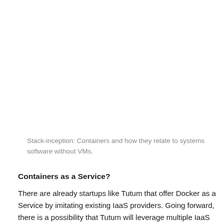Stack-inception: Containers and how they relate to systems software without VMs.
Containers as a Service?
There are already startups like Tutum that offer Docker as a Service by imitating existing IaaS providers. Going forward, there is a possibility that Tutum will leverage multiple IaaS offerings to dynamically provision and